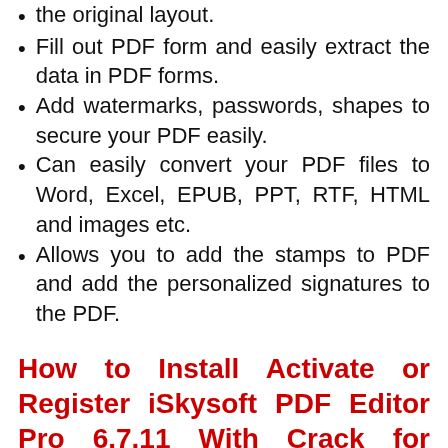the original layout.
Fill out PDF form and easily extract the data in PDF forms.
Add watermarks, passwords, shapes to secure your PDF easily.
Can easily convert your PDF files to Word, Excel, EPUB, PPT, RTF, HTML and images etc.
Allows you to add the stamps to PDF and add the personalized signatures to the PDF.
How to Install Activate or Register iSkysoft PDF Editor Pro 6.7.11 With Crack for Free?